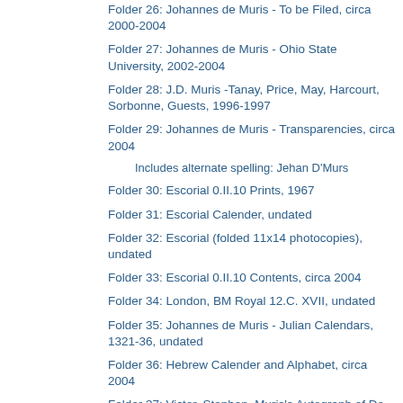Folder 26: Johannes de Muris - To be Filed, circa 2000-2004
Folder 27: Johannes de Muris - Ohio State University, 2002-2004
Folder 28: J.D. Muris -Tanay, Price, May, Harcourt, Sorbonne, Guests, 1996-1997
Folder 29: Johannes de Muris - Transparencies, circa 2004
Includes alternate spelling: Jehan D'Murs
Folder 30: Escorial 0.II.10 Prints, 1967
Folder 31: Escorial Calender, undated
Folder 32: Escorial (folded 11x14 photocopies), undated
Folder 33: Escorial 0.II.10 Contents, circa 2004
Folder 34: London, BM Royal 12.C. XVII, undated
Folder 35: Johannes de Muris - Julian Calendars, 1321-36, undated
Folder 36: Hebrew Calender and Alphabet, circa 2004
Folder 37: Victor, Stephen, Muris's Autograph of De Arte Mensurandi, 1971
Folder 38: De Muris and his Milieu - Final Draft, 1997